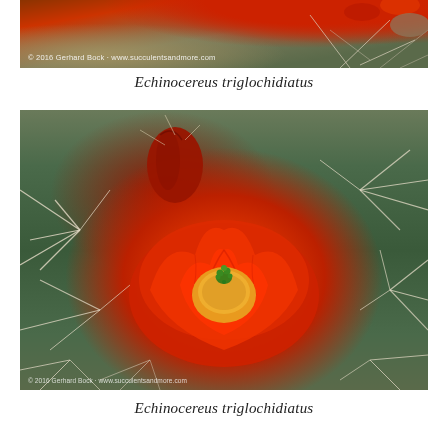[Figure (photo): Close-up photo of Echinocereus triglochidiatus cactus with red flowers visible at top, watermark: © 2016 Gerhard Bock · www.succulentsandmore.com]
Echinocereus triglochidiatus
[Figure (photo): Close-up photo of Echinocereus triglochidiatus cactus showing a large open red flower with yellow-orange center, green pistils, and a red bud, surrounded by white spines. Watermark: © 2016 Gerhard Bock · www.succulentsandmore.com]
Echinocereus triglochidiatus